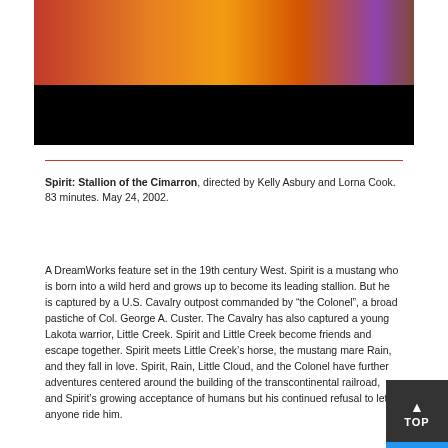[Figure (screenshot): Animated screenshot from Spirit: Stallion of the Cimarron showing colorful animated characters against an orange/red background, with a black letterbox band at the bottom.]
Spirit: Stallion of the Cimarron, directed by Kelly Asbury and Lorna Cook. 83 minutes. May 24, 2002.
A DreamWorks feature set in the 19th century West. Spirit is a mustang who is born into a wild herd and grows up to become its leading stallion. But he is captured by a U.S. Cavalry outpost commanded by “the Colonel”, a broad pastiche of Col. George A. Custer. The Cavalry has also captured a young Lakota warrior, Little Creek. Spirit and Little Creek become friends and escape together. Spirit meets Little Creek’s horse, the mustang mare Rain, and they fall in love. Spirit, Rain, Little Cloud, and the Colonel have further adventures centered around the building of the transcontinental railroad, and Spirit’s growing acceptance of humans but his continued refusal to let anyone ride him.